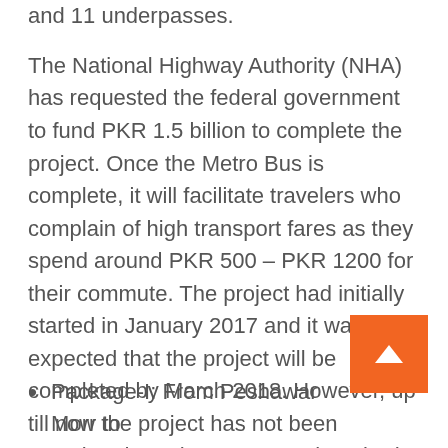and 11 underpasses.
The National Highway Authority (NHA) has requested the federal government to fund PKR 1.5 billion to complete the project. Once the Metro Bus is complete, it will facilitate travelers who complain of high transport fares as they spend around PKR 500 – PKR 1200 for their commute. The project had initially started in January 2017 and it was expected that the project will be completed by March 2018. However, up till now the project has not been completed. Peshawar Morr-Islamabad International Airport has been divided into four packages.
Package-I: From Peshawar Morr to